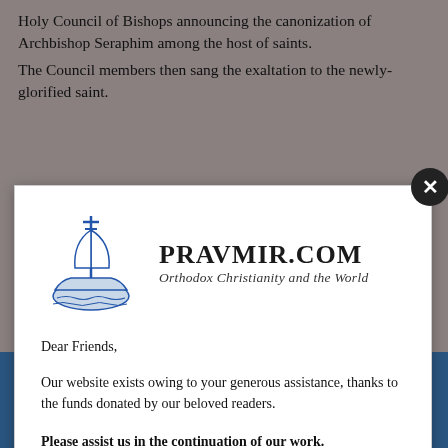Holy Council of Bishops announcing the canonization of Archbishop Seraphim among the host of saints. The Council members then sang the exaltation to the newly-glorified saint.
[Figure (screenshot): Pravmir.com modal popup with Orthodox ship logo, site name PRAVMIR.COM, tagline Orthodox Christianity and the World, and donation appeal text. Includes a close button (X) in top-right corner.]
Dear Friends,
Our website exists owing to your generous assistance, thanks to the funds donated by our beloved readers.
Please assist us in the continuation of our work.
Since you are here…
…we do have a small request. More and more people visit